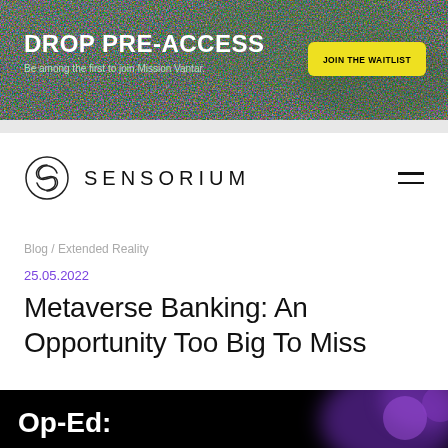[Figure (other): Dark green textured banner background with DROP PRE-ACCESS headline and JOIN THE WAITLIST yellow button]
[Figure (logo): Sensorium logo: circular S icon followed by SENSORIUM text with hamburger menu icon]
Blog / Extended Reality
25.05.2022
Metaverse Banking: An Opportunity Too Big To Miss
[Figure (photo): Dark background with purple glowing spheres and Op-Ed: text overlay in white bold]